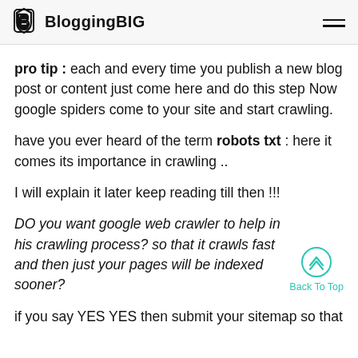BloggingBIG
pro tip : each and every time you publish a new blog post or content just come here and do this step Now google spiders come to your site and start crawling.
have you ever heard of the term robots txt : here it comes its importance in crawling ..
I will explain it later keep reading till then !!!
DO you want google web crawler to help in his crawling process? so that it crawls fast and then just your pages will be indexed sooner?
if you say YES YES then submit your sitemap so that